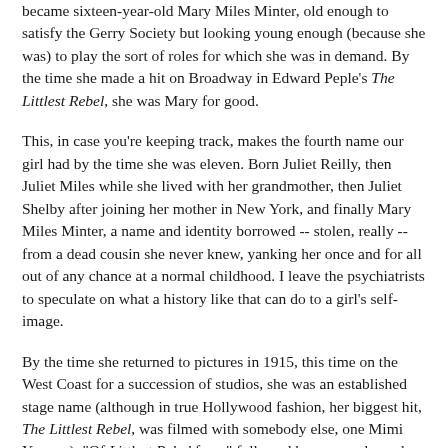became sixteen-year-old Mary Miles Minter, old enough to satisfy the Gerry Society but looking young enough (because she was) to play the sort of roles for which she was in demand. By the time she made a hit on Broadway in Edward Peple's The Littlest Rebel, she was Mary for good.
This, in case you're keeping track, makes the fourth name our girl had by the time she was eleven. Born Juliet Reilly, then Juliet Miles while she lived with her grandmother, then Juliet Shelby after joining her mother in New York, and finally Mary Miles Minter, a name and identity borrowed -- stolen, really -- from a dead cousin she never knew, yanking her once and for all out of any chance at a normal childhood. I leave the psychiatrists to speculate on what a history like that can do to a girl's self-image.
By the time she returned to pictures in 1915, this time on the West Coast for a succession of studios, she was an established stage name (although in true Hollywood fashion, her biggest hit, The Littlest Rebel, was filmed with somebody else, one Mimi Yvonne). "Of Littlest Rebel fame" followed her everywhere she went.